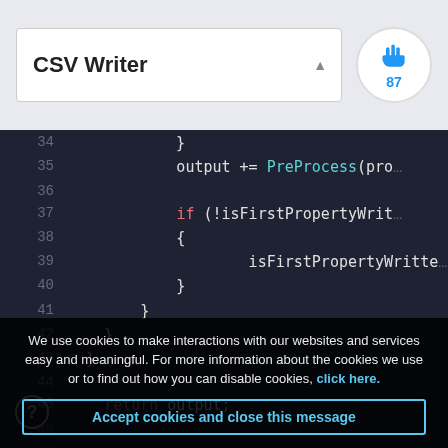CSV Writer
[Figure (screenshot): Code editor screenshot showing lines 34-51 of C# code with syntax highlighting on dark background. Lines show closing braces, output += PreProcess(prop..., if (!isFirstPropertyWrit..., isFirstPropertyWritte..., return output;, and partial lines 48-51 obscured by cookie overlay.]
We use cookies to make interactions with our websites and services easy and meaningful. For more information about the cookies we use or to find out how you can disable cookies, click here.
Accept cookies and close this message
Disable cookies